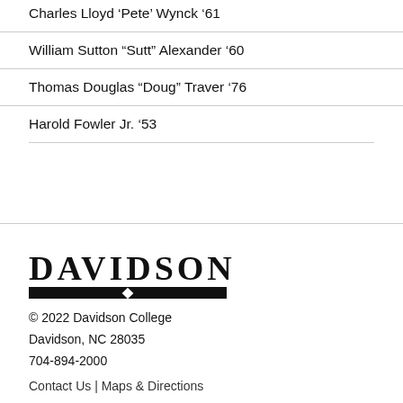Charles Lloyd ‘Pete’ Wynck ’01
William Sutton “Sutt” Alexander ’60
Thomas Douglas “Doug” Traver ’76
Harold Fowler Jr. ’53
[Figure (logo): Davidson College logo: bold serif DAVIDSON wordmark with a thick black bar and diamond beneath]
© 2022 Davidson College
Davidson, NC 28035
704-894-2000
Contact Us | Maps & Directions